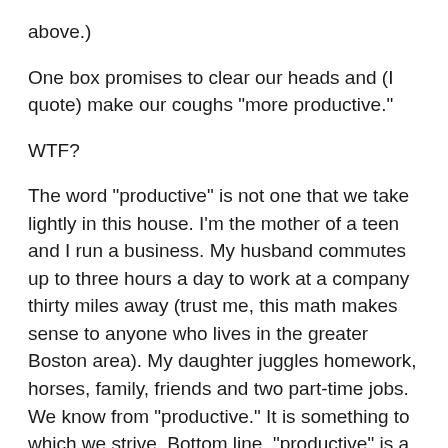above.)
One box promises to clear our heads and (I quote) make our coughs "more productive."
WTF?
The word "productive" is not one that we take lightly in this house. I'm the mother of a teen and I run a business. My husband commutes up to three hours a day to work at a company thirty miles away (trust me, this math makes sense to anyone who lives in the greater Boston area). My daughter juggles homework, horses, family, friends and two part-time jobs. We know from "productive." It is something to which we strive. Bottom line, "productive" is a good thing.
Not!